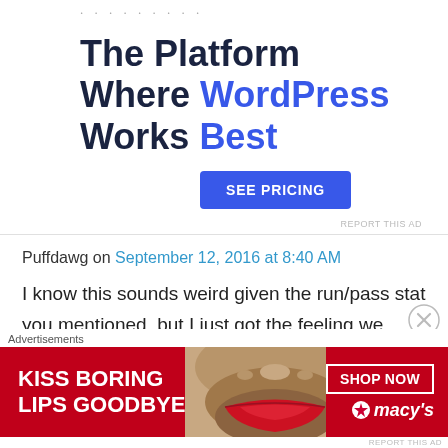· · · · · · · · ·
The Platform Where WordPress Works Best
SEE PRICING
REPORT THIS AD
Puffdawg on September 12, 2016 at 8:40 AM
I know this sounds weird given the run/pass stat you mentioned, but I just got the feeling we came into this game with focus on what Eason
Advertisements
[Figure (photo): Macy's advertisement banner: 'KISS BORING LIPS GOODBYE' with SHOP NOW button and Macy's logo, featuring a woman's face with red lips]